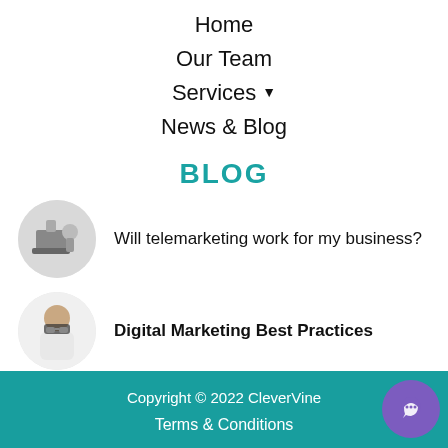Home
Our Team
Services ▾
News & Blog
BLOG
Will telemarketing work for my business?
Digital Marketing Best Practices
Copyright © 2022 CleverVine
Terms & Conditions